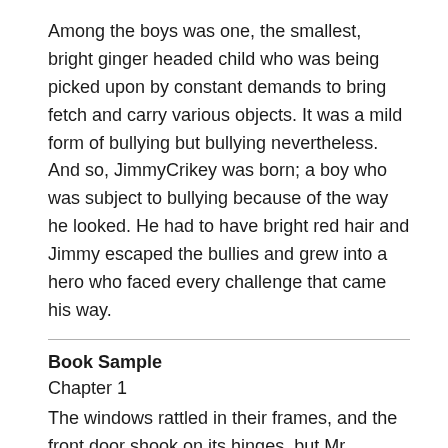Among the boys was one, the smallest, bright ginger headed child who was being picked upon by constant demands to bring fetch and carry various objects. It was a mild form of bullying but bullying nevertheless. And so, JimmyCrikey was born; a boy who was subject to bullying because of the way he looked. He had to have bright red hair and Jimmy escaped the bullies and grew into a hero who faced every challenge that came his way.
Book Sample
Chapter 1
The windows rattled in their frames, and the front door shook on its hinges, but Mr McDonald did not stir a centimetre despite the constant barrage of